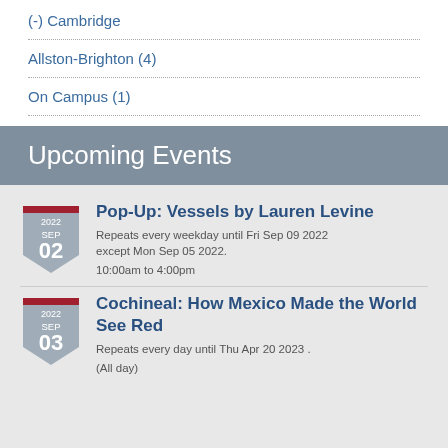(-) Cambridge
Allston-Brighton (4)
On Campus (1)
Upcoming Events
Pop-Up: Vessels by Lauren Levine
Repeats every weekday until Fri Sep 09 2022 except Mon Sep 05 2022.
10:00am to 4:00pm
Cochineal: How Mexico Made the World See Red
Repeats every day until Thu Apr 20 2023 .
(All day)